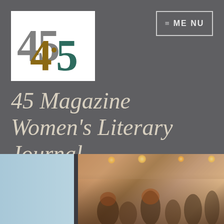[Figure (logo): 45 Magazine logo with overlapping '45' numerals in gray and gold/teal colors on white background]
[Figure (other): Menu button with hamburger icon and 'MENU' text in outlined box]
45 Magazine Women's Literary Journal
[Figure (photo): Photo showing a gathering/event scene: left portion shows light blue window/wall area; right portion shows a warmly lit interior with people gathered, pendant lights overhead, exposed concrete walls]